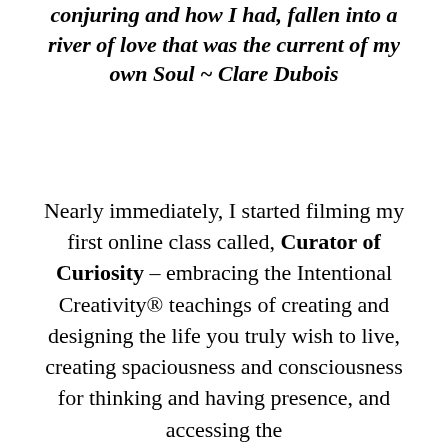conjuring and how I had, fallen into a river of love that was the current of my own Soul ~ Clare Dubois
Nearly immediately, I started filming my first online class called, Curator of Curiosity – embracing the Intentional Creativity® teachings of creating and designing the life you truly wish to live, creating spaciousness and consciousness for thinking and having presence, and accessing the